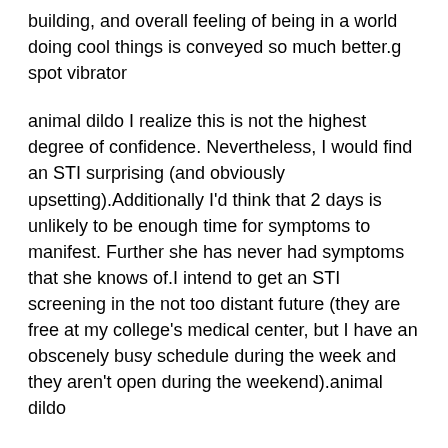building, and overall feeling of being in a world doing cool things is conveyed so much better.g spot vibrator
animal dildo I realize this is not the highest degree of confidence. Nevertheless, I would find an STI surprising (and obviously upsetting).Additionally I'd think that 2 days is unlikely to be enough time for symptoms to manifest. Further she has never had symptoms that she knows of.I intend to get an STI screening in the not too distant future (they are free at my college's medical center, but I have an obscenely busy schedule during the week and they aren't open during the weekend).animal dildo
wholesale sex toys I had always been fascinated by the big house of Framling. Perhaps it had begun when I was two years old and Fabian Framling had kidnapped me and kept me there for two weeks. It was a house full of shadows and mystery, I discovered, when I went in search of the woman before found she had gone to